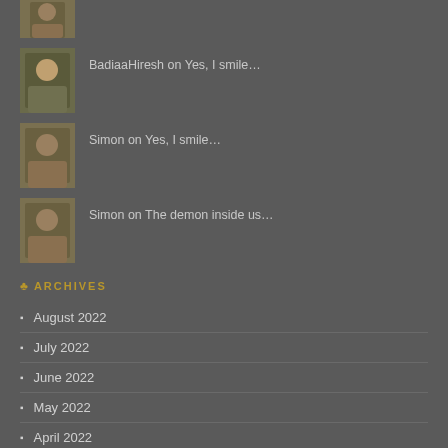[Figure (photo): Partial avatar image of a person at top of page]
BadiaaHiresh on Yes, I smile…
Simon on Yes, I smile…
Simon on The demon inside us…
ARCHIVES
August 2022
July 2022
June 2022
May 2022
April 2022
March 2022
February 2022